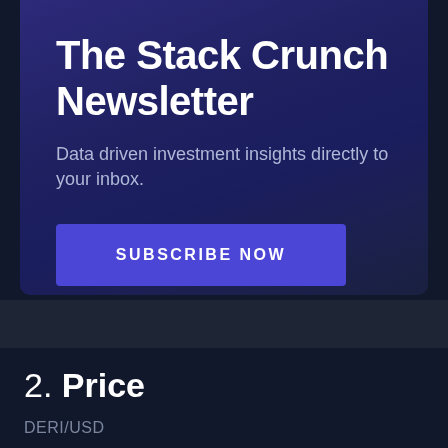The Stack Crunch Newsletter
Data driven investment insights directly to your inbox.
SUBSCRIBE NOW
2. Price
DERI/USD